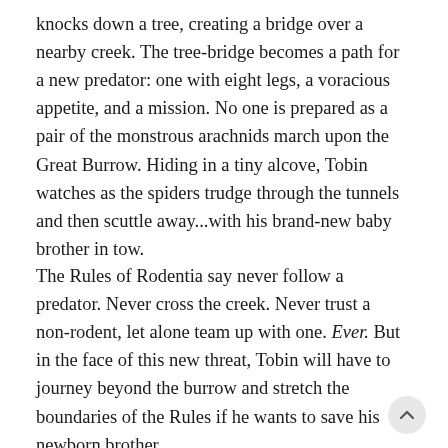knocks down a tree, creating a bridge over a nearby creek. The tree-bridge becomes a path for a new predator: one with eight legs, a voracious appetite, and a mission. No one is prepared as a pair of the monstrous arachnids march upon the Great Burrow. Hiding in a tiny alcove, Tobin watches as the spiders trudge through the tunnels and then scuttle away...with his brand-new baby brother in tow.
The Rules of Rodentia say never follow a predator. Never cross the creek. Never trust a non-rodent, let alone team up with one. Ever. But in the face of this new threat, Tobin will have to journey beyond the burrow and stretch the boundaries of the Rules if he wants to save his newborn brother.